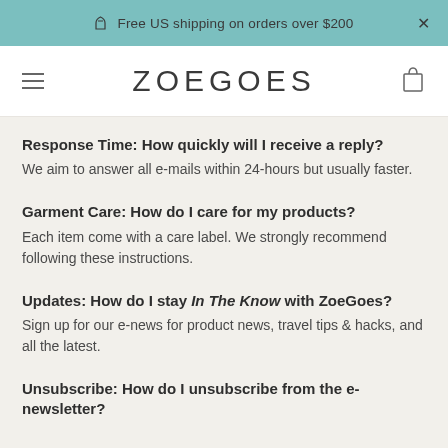Free US shipping on orders over $200
[Figure (logo): ZOEGOES brand logo with hamburger menu and shopping bag icons]
Response Time: How quickly will I receive a reply?
We aim to answer all e-mails within 24-hours but usually faster.
Garment Care: How do I care for my products?
Each item come with a care label. We strongly recommend following these instructions.
Updates: How do I stay In The Know with ZoeGoes?
Sign up for our e-news for product news, travel tips & hacks, and all the latest.
Unsubscribe: How do I unsubscribe from the e-newsletter?